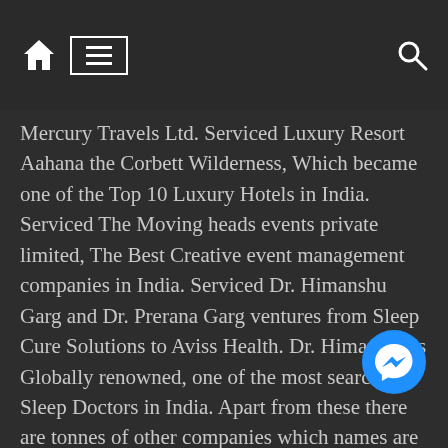[Figure (screenshot): Navigation bar with home icon, hamburger menu (highlighted with border), and search icon on dark background]
Mercury Travels Ltd. Serviced Luxury Resort Aahana the Corbett Wilderness, Which became one of the Top 10 Luxury Hotels in India. Serviced The Moving heads events private limited, The Best Creative event management companies in India. Serviced Dr. Himanshu Garg and Dr. Prerana Garg ventures from Sleep Cure Solutions to Aviss Health. Dr. Himanshu is Globally renowned, one of the most searched Sleep Doctors in India. Apart from these there are tonnes of other companies which names are not listed here. He has had the opportunity to share his knowledge with students from College of Art, an institution established in 1942 for advanced training in Visual Art (Creative and Applied) as a visiting lecturer (Visual Communication Department - Alternative Media) He acquired his knowledge from his past experiences